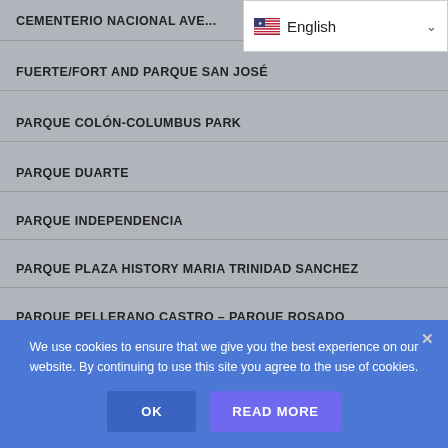CEMENTERIO NACIONAL AVE...
[Figure (screenshot): Language selector dropdown showing US flag and 'English' with chevron]
FUERTE/FORT AND PARQUE SAN JOSÉ
PARQUE COLÓN-COLUMBUS PARK
PARQUE DUARTE
PARQUE INDEPENDENCIA
PARQUE PLAZA HISTORY MARIA TRINIDAD SANCHEZ
PARQUE PELLERANO CASTRO – PARQUE ROSADO
PLAYA AND PARK PLACER (PLAYITA MONTECINO)
We use cookies to ensure that we give you the best experience on our website. By continuing to use this site you agree to the use of cookies.